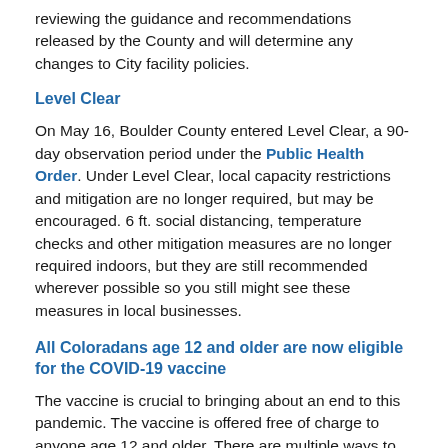reviewing the guidance and recommendations released by the County and will determine any changes to City facility policies.
Level Clear
On May 16, Boulder County entered Level Clear, a 90-day observation period under the Public Health Order. Under Level Clear, local capacity restrictions and mitigation are no longer required, but may be encouraged. 6 ft. social distancing, temperature checks and other mitigation measures are no longer required indoors, but they are still recommended wherever possible so you still might see these measures in local businesses.
All Coloradans age 12 and older are now eligible for the COVID-19 vaccine
The vaccine is crucial to bringing about an end to this pandemic. The vaccine is offered free of charge to anyone age 12 and older. There are multiple ways to get the vaccine including walk-in appointments at the State's Community Vaccination Sites. Visit the State's 'Where Can I get Vaccinated?'